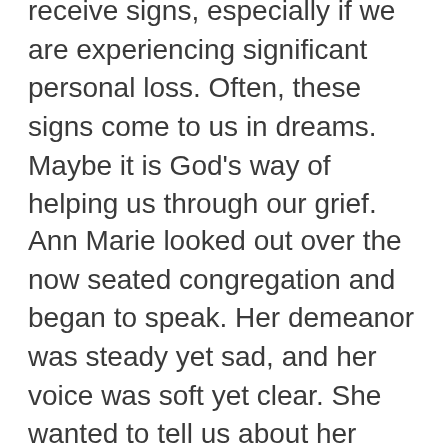receive signs, especially if we are experiencing significant personal loss. Often, these signs come to us in dreams. Maybe it is God's way of helping us through our grief.
Ann Marie looked out over the now seated congregation and began to speak. Her demeanor was steady yet sad, and her voice was soft yet clear. She wanted to tell us about her dad.  She just spoke from her heart about a guy named Jerome Schreiber,